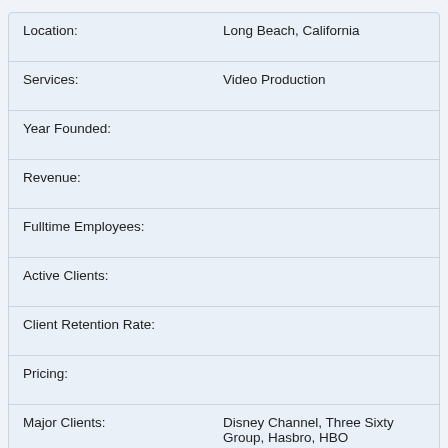| Field | Value |
| --- | --- |
| Location: | Long Beach, California |
| Services: | Video Production |
| Year Founded: |  |
| Revenue: |  |
| Fulltime Employees: |  |
| Active Clients: |  |
| Client Retention Rate: |  |
| Pricing: |  |
| Major Clients: | Disney Channel, Three Sixty Group, Hasbro, HBO |
| Website: | monkeyhead.com |
| More Info: | View Profile |
Ad